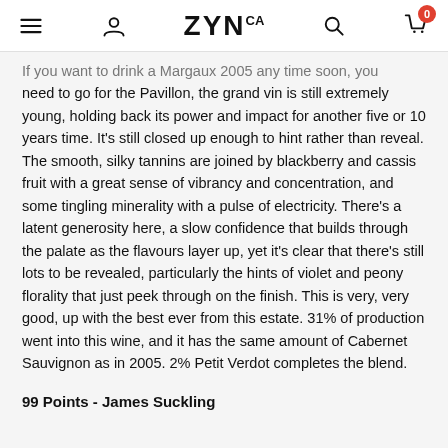ZYNca — navigation header with menu, account, logo, search, and cart icons
If you want to drink a Margaux 2005 any time soon, you need to go for the Pavillon, the grand vin is still extremely young, holding back its power and impact for another five or 10 years time. It's still closed up enough to hint rather than reveal. The smooth, silky tannins are joined by blackberry and cassis fruit with a great sense of vibrancy and concentration, and some tingling minerality with a pulse of electricity. There's a latent generosity here, a slow confidence that builds through the palate as the flavours layer up, yet it's clear that there's still lots to be revealed, particularly the hints of violet and peony florality that just peek through on the finish. This is very, very good, up with the best ever from this estate. 31% of production went into this wine, and it has the same amount of Cabernet Sauvignon as in 2005. 2% Petit Verdot completes the blend.
99 Points - James Suckling